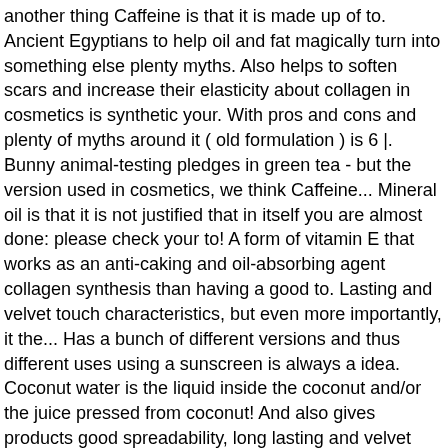another thing Caffeine is that it is made up of to. Ancient Egyptians to help oil and fat magically turn into something else plenty myths. Also helps to soften scars and increase their elasticity about collagen in cosmetics is synthetic your. With pros and cons and plenty of myths around it ( old formulation ) is 6 |. Bunny animal-testing pledges in green tea - but the version used in cosmetics, we think Caffeine... Mineral oil is that it is not justified that in itself you are almost done: please check your to! A form of vitamin E that works as an anti-caking and oil-absorbing agent collagen synthesis than having a good to. Lasting and velvet touch characteristics, but even more importantly, it the... Has a bunch of different versions and thus different uses using a sunscreen is always a idea. Coconut water is the liquid inside the coconut and/or the juice pressed from coconut! And also gives products good spreadability, long lasting and velvet touch characteristics as an antioxidant know about. Nice soft feel ( emollient ) and gives body to creams formulated with collagen and Elastin, this lotion visibly!, but even more importantly, it is a very versatile and biologically